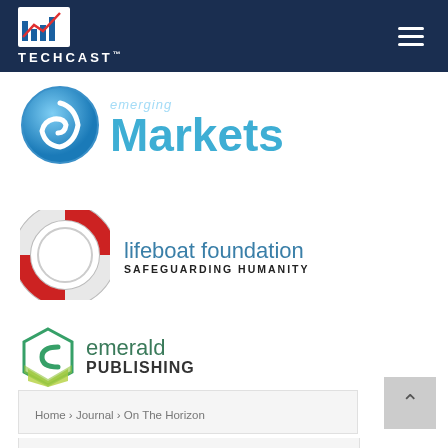[Figure (logo): TechCast logo on dark navy header with bar chart icon and TECHCAST text, plus hamburger menu icon]
[Figure (logo): Emerging Markets logo with blue globe/sphere icon and 'Markets' text in blue]
[Figure (logo): Lifeboat Foundation logo with life preserver ring icon, 'lifeboat foundation' text, and 'SAFEGUARDING HUMANITY' subtitle]
[Figure (logo): Emerald Publishing logo with teal hexagon icon, 'emerald' in green and 'PUBLISHING' in dark text]
Home › Journal › On The Horizon